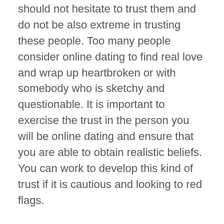should not hesitate to trust them and do not be also extreme in trusting these people. Too many people consider online dating to find real love and wrap up heartbroken or with somebody who is sketchy and questionable. It is important to exercise the trust in the person you will be online dating and ensure that you are able to obtain realistic beliefs. You can work to develop this kind of trust if it is cautious and looking to red flags.
When you carry out these online dating sites facts, you can find it easier to meet an individual online and then begin together with your dating programs. Online dating includes certainly opened new and exciting doors for individuals. However , it does not mean that all your dating experiences are smooth sailing. Sometimes it is really hard and to trust